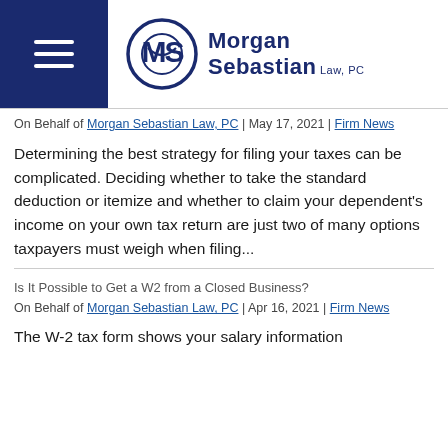[Figure (logo): Morgan Sebastian Law PC logo with circular MS emblem and navigation hamburger icon on dark blue background]
On Behalf of Morgan Sebastian Law, PC | May 17, 2021 | Firm News
Determining the best strategy for filing your taxes can be complicated. Deciding whether to take the standard deduction or itemize and whether to claim your dependent's income on your own tax return are just two of many options taxpayers must weigh when filing...
Is It Possible to Get a W2 from a Closed Business?
On Behalf of Morgan Sebastian Law, PC | Apr 16, 2021 | Firm News
The W-2 tax form shows your salary information